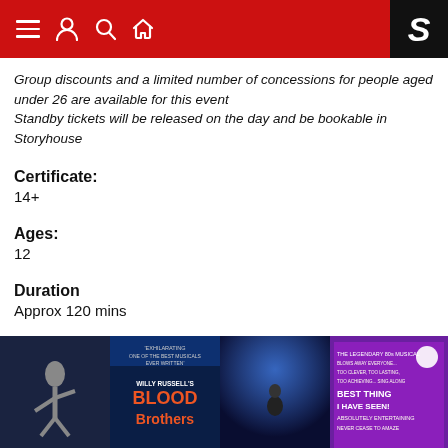Storyhouse navigation header with menu, person, search, home icons and S logo
Group discounts and a limited number of concessions for people aged under 26 are available for this event
Standby tickets will be released on the day and be bookable in Storyhouse
Certificate:
14+
Ages:
12
Duration
Approx 120 mins
[Figure (photo): Bottom strip showing four show promotional images including Blood Brothers by Willy Russell]